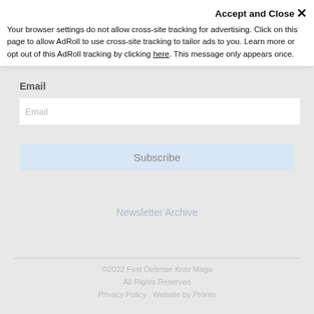[Figure (screenshot): Website screenshot showing a cookie/tracking notification overlay on top of a newsletter subscription page for First Defense Krav Maga]
Accept and Close ×
Your browser settings do not allow cross-site tracking for advertising. Click on this page to allow AdRoll to use cross-site tracking to tailor ads to you. Learn more or opt out of this AdRoll tracking by clicking here. This message only appears once.
Join the FDKM Mailing List
Email
Email
Subscribe
Newsletter Archive
©2022 First Defense Krav Maga
All Rights Reserved
Privacy Policy  Website by Pronto